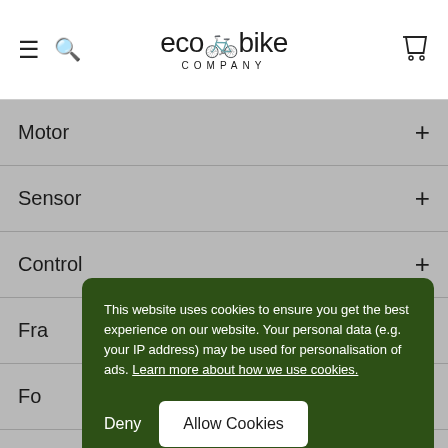ecobike COMPANY
Motor
Sensor
Control
Fra[me]
Fo[rk]
Br[akes]
Lights
This website uses cookies to ensure you get the best experience on our website. Your personal data (e.g. your IP address) may be used for personalisation of ads. Learn more about how we use cookies.